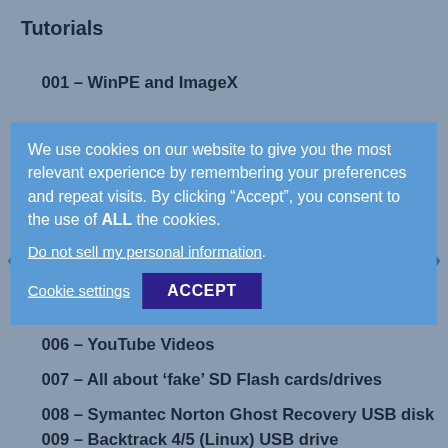Tutorials
001 – WinPE and ImageX
002 – How to create a USB drive that will install one of many choices of Windows (e.g.
We use cookies on our website to give you the most relevant experience by remembering your preferences and repeat visits. By clicking "Accept", you consent to the use of ALL the cookies.
Do not sell my personal information.
Cookie settings   ACCEPT
006 – YouTube Videos
007 – All about 'fake' SD Flash cards/drives
008 – Symantec Norton Ghost Recovery USB disk
009 – Backtrack 4/5 (Linux) USB drive